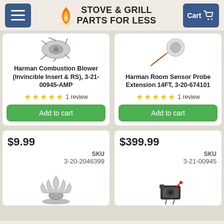Stove & Grill Parts For Less
Harman Combustion Blower (Invincible Insert & RS), 3-21-00945-AMP | 1 review | Add to cart
Harman Room Sensor Probe Extension 14FT, 3-20-674101 | 1 review | Add to cart
$9.99 SKU 3-20-2046399
$399.99 SKU 3-21-00945